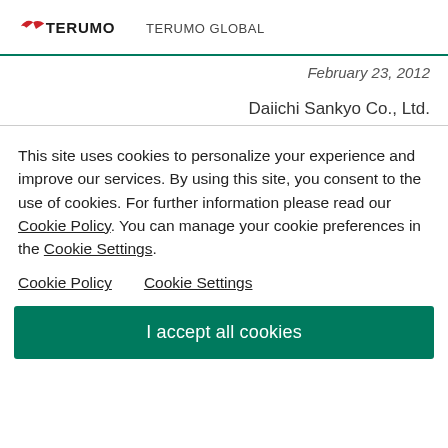TERUMO   TERUMO GLOBAL
February 23, 2012
Daiichi Sankyo Co., Ltd.
This site uses cookies to personalize your experience and improve our services. By using this site, you consent to the use of cookies. For further information please read our Cookie Policy. You can manage your cookie preferences in the Cookie Settings.
Cookie Policy   Cookie Settings
I accept all cookies